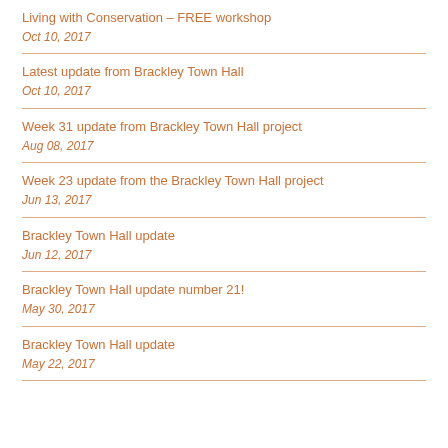Living with Conservation – FREE workshop
Oct 10, 2017
Latest update from Brackley Town Hall
Oct 10, 2017
Week 31 update from Brackley Town Hall project
Aug 08, 2017
Week 23 update from the Brackley Town Hall project
Jun 13, 2017
Brackley Town Hall update
Jun 12, 2017
Brackley Town Hall update number 21!
May 30, 2017
Brackley Town Hall update
May 22, 2017